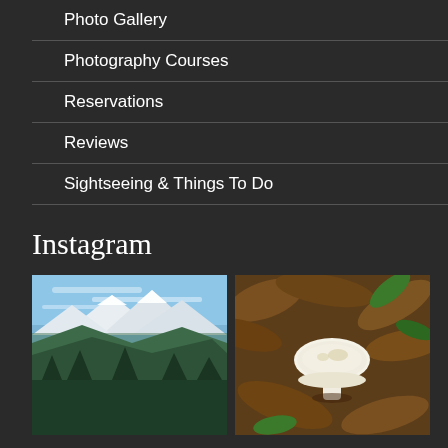Photo Gallery
Photography Courses
Reservations
Reviews
Sightseeing & Things To Do
Instagram
[Figure (photo): Snowy mountain range with forested hills in the foreground under a blue sky]
[Figure (photo): White mushroom growing among dry brown leaves on forest floor]